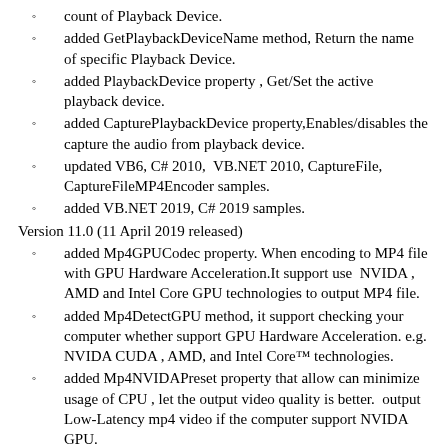count of Playback Device.
added GetPlaybackDeviceName method, Return the name of specific Playback Device.
added PlaybackDevice property , Get/Set the active playback device.
added CapturePlaybackDevice property,Enables/disables the capture the audio from playback device.
updated VB6, C# 2010, VB.NET 2010, CaptureFile, CaptureFileMP4Encoder samples.
added VB.NET 2019, C# 2019 samples.
Version 11.0 (11 April 2019 released)
added Mp4GPUCodec property. When encoding to MP4 file with GPU Hardware Acceleration.It support use NVIDA , AMD and Intel Core GPU technologies to output MP4 file.
added Mp4DetectGPU method, it support checking your computer whether support GPU Hardware Acceleration. e.g. NVIDA CUDA , AMD, and Intel Core™ technologies.
added Mp4NVIDAPreset property that allow can minimize usage of CPU , let the output video quality is better. output Low-Latency mp4 video if the computer support NVIDA GPU.
fixed StartIPCamera method hang issue, if network connection problem, IP camera has